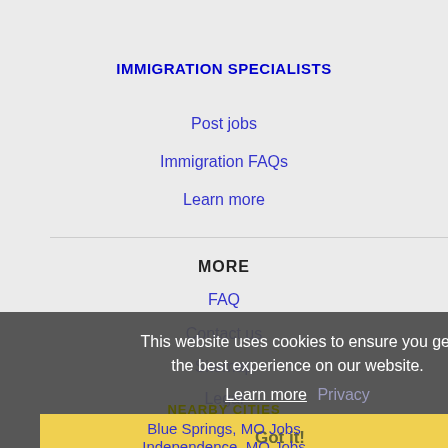IMMIGRATION SPECIALISTS
Post jobs
Immigration FAQs
Learn more
MORE
FAQ
Contact us
Sitemap
Legal
This website uses cookies to ensure you get the best experience on our website.
Learn more
Privacy
Got it!
NEARBY CITIES
Blue Springs, MO Jobs
Independence, MO Jobs